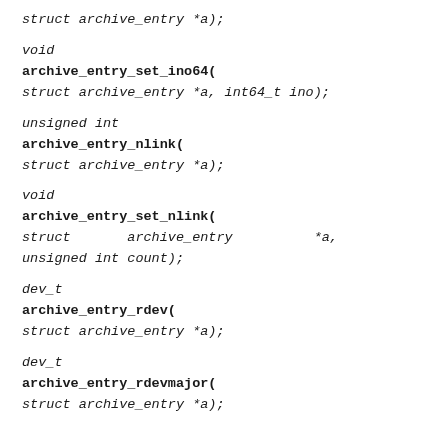struct archive_entry *a);
void
archive_entry_set_ino64(
struct archive_entry *a, int64_t ino);
unsigned int
archive_entry_nlink(
struct archive_entry *a);
void
archive_entry_set_nlink(
struct         archive_entry          *a,
unsigned int count);
dev_t
archive_entry_rdev(
struct archive_entry *a);
dev_t
archive_entry_rdevmajor(
struct archive_entry *a);